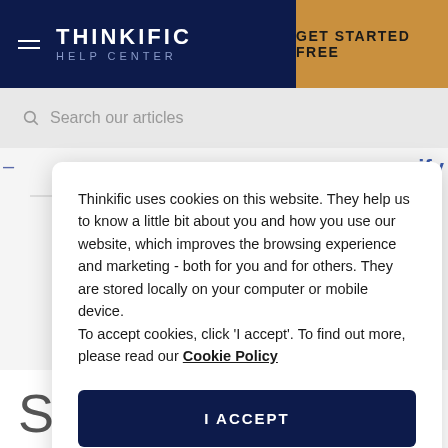THINKIFIC HELP CENTER | GET STARTED FREE
Search our articles
Thinkific uses cookies on this website. They help us to know a little bit about you and how you use our website, which improves the browsing experience and marketing - both for you and for others. They are stored locally on your computer or mobile device.
To accept cookies, click 'I accept'. To find out more, please read our Cookie Policy
I ACCEPT
Selling Thinkific